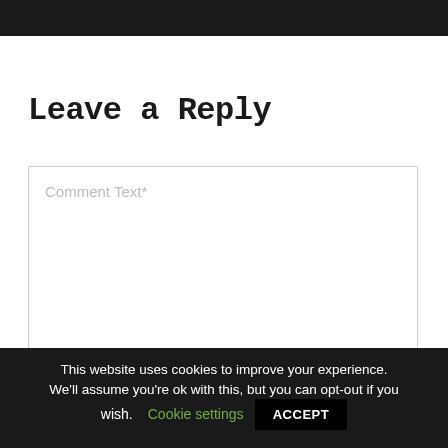Leave a Reply
Comment Text*
This website uses cookies to improve your experience. We'll assume you're ok with this, but you can opt-out if you wish. Cookie settings ACCEPT